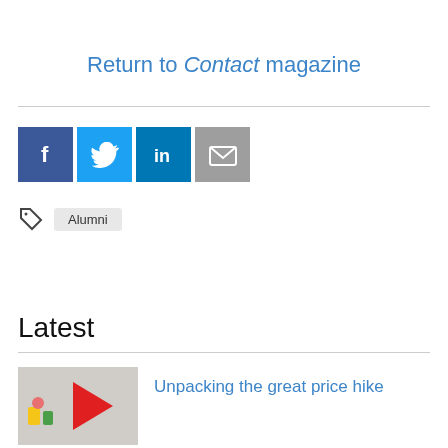Return to Contact magazine
[Figure (infographic): Social media sharing icons: Facebook (blue), Twitter (light blue), LinkedIn (dark blue), Email (gray)]
Alumni
Latest
[Figure (photo): Partial image showing colorful decorative items with a red arrow shape]
Unpacking the great price hike